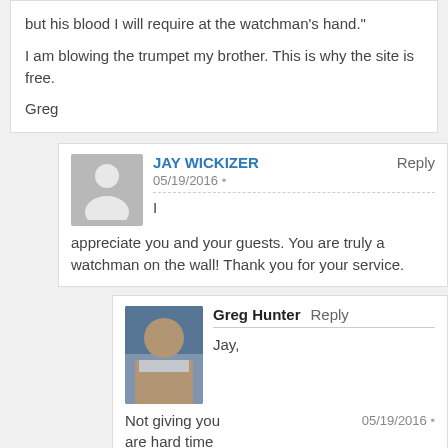but his blood I will require at the watchman's hand."

I am blowing the trumpet my brother. This is why the site is free.

Greg
JAY WICKIZER
05/19/2016
I appreciate you and your guests. You are truly a watchman on the wall! Thank you for your service.
Greg Hunter
Jay,
05/19/2016
Not giving you are hard time